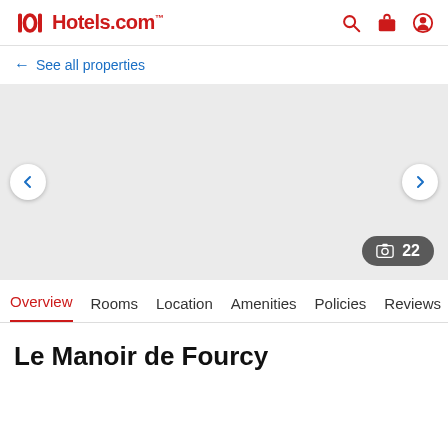Hotels.com
← See all properties
[Figure (screenshot): Gray placeholder hotel photo area with left and right navigation arrows and a photo count badge showing 22 images]
Overview  Rooms  Location  Amenities  Policies  Reviews
Le Manoir de Fourcy